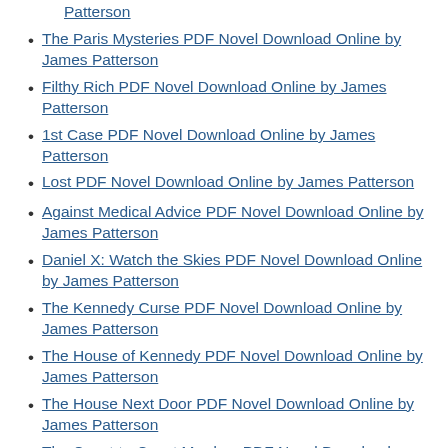Patterson
The Paris Mysteries PDF Novel Download Online by James Patterson
Filthy Rich PDF Novel Download Online by James Patterson
1st Case PDF Novel Download Online by James Patterson
Lost PDF Novel Download Online by James Patterson
Against Medical Advice PDF Novel Download Online by James Patterson
Daniel X: Watch the Skies PDF Novel Download Online by James Patterson
The Kennedy Curse PDF Novel Download Online by James Patterson
The House of Kennedy PDF Novel Download Online by James Patterson
The House Next Door PDF Novel Download Online by James Patterson
The Coast-to-Coast Murders PDF Novel Download Online by James Patterson
Season of the Machete PDF Novel Download Online by James Patterson
Private Delhi PDF Novel Download Online by James Patterson